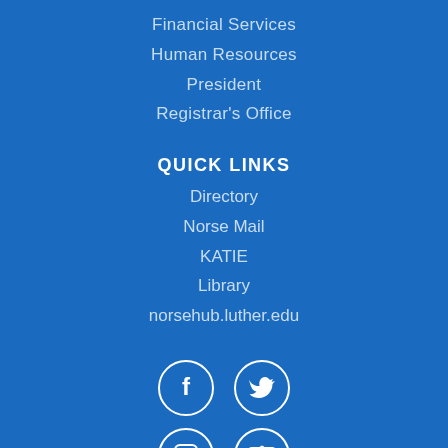Financial Services
Human Resources
President
Registrar's Office
QUICK LINKS
Directory
Norse Mail
KATIE
Library
norsehub.luther.edu
[Figure (illustration): Social media icons in white circles on blue background: Facebook, Twitter, Instagram, YouTube, LinkedIn]